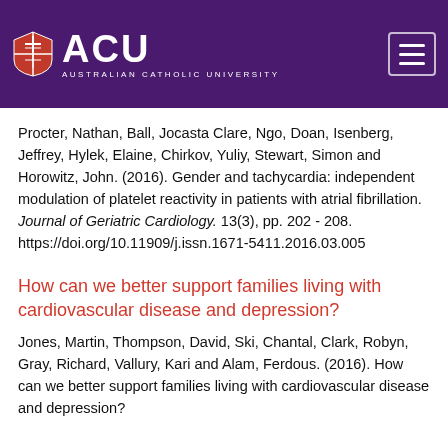ACU Australian Catholic University
Procter, Nathan, Ball, Jocasta Clare, Ngo, Doan, Isenberg, Jeffrey, Hylek, Elaine, Chirkov, Yuliy, Stewart, Simon and Horowitz, John. (2016). Gender and tachycardia: independent modulation of platelet reactivity in patients with atrial fibrillation. Journal of Geriatric Cardiology. 13(3), pp. 202 - 208. https://doi.org/10.11909/j.issn.1671-5411.2016.03.005
How can we better support families living with cardiovascular disease and depression?
Jones, Martin, Thompson, David, Ski, Chantal, Clark, Robyn, Gray, Richard, Vallury, Kari and Alam, Ferdous. (2016). How can we better support families living with cardiovascular disease and depression?